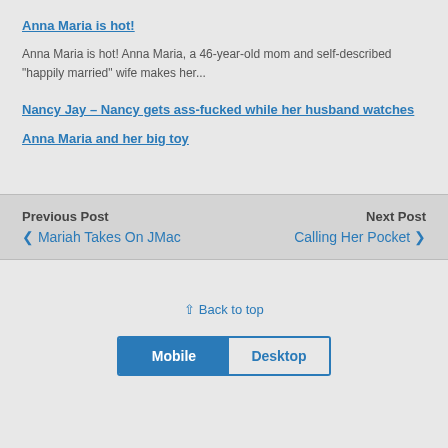Anna Maria is hot!
Anna Maria is hot! Anna Maria, a 46-year-old mom and self-described "happily married" wife makes her...
Nancy Jay – Nancy gets ass-fucked while her husband watches
Anna Maria and her big toy
Previous Post  ❮ Mariah Takes On JMac   Next Post  Calling Her Pocket ❯
⇪ Back to top
Mobile  Desktop